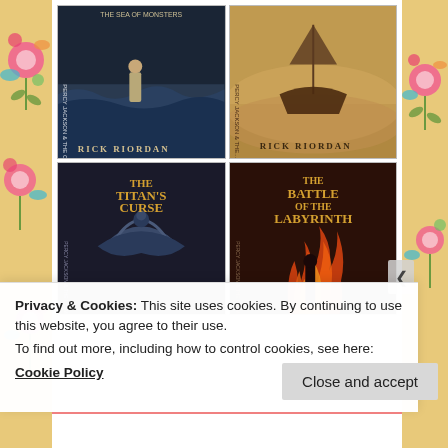[Figure (photo): Grid of four Percy Jackson book covers by Rick Riordan: top-left (book with boy standing in water, Rick Riordan), top-right (book with ship in misty sky, Rick Riordan), bottom-left (The Titan's Curse - dark cover with eagle), bottom-right (The Battle of the Labyrinth - figure with fire)]
Privacy & Cookies: This site uses cookies. By continuing to use this website, you agree to their use.
To find out more, including how to control cookies, see here:
Cookie Policy
Close and accept